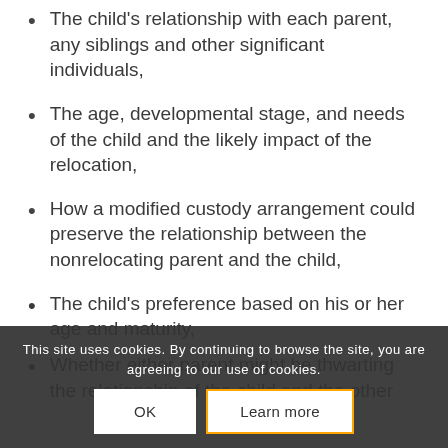The child’s relationship with each parent, any siblings and other significant individuals,
The age, developmental stage, and needs of the child and the likely impact of the relocation,
How a modified custody arrangement could preserve the relationship between the nonrelocating parent and the child,
The child’s preference based on his or her age and maturity,
Whether either parent might be thwarting the relationship of the child and the other...